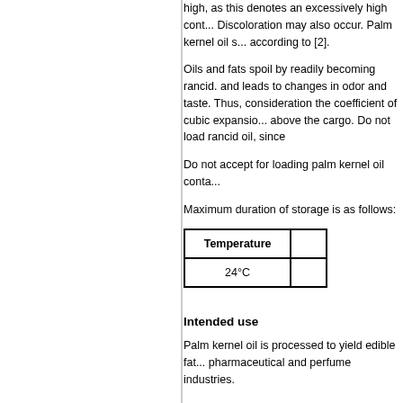high, as this denotes an excessively high content. Discoloration may also occur. Palm kernel oil s... according to [2].
Oils and fats spoil by readily becoming rancid. and leads to changes in odor and taste. Thus, consideration the coefficient of cubic expansion above the cargo. Do not load rancid oil, since
Do not accept for loading palm kernel oil conta...
Maximum duration of storage is as follows:
| Temperature |  |
| --- | --- |
| 24°C |  |
Intended use
Palm kernel oil is processed to yield edible fat... pharmaceutical and perfume industries.
Countries of origin